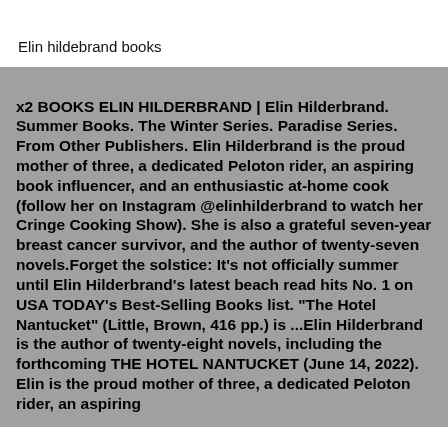Elin hildebrand books
x2 BOOKS ELIN HILDERBRAND | Elin Hilderbrand. Summer Books. The Winter Series. Paradise Series. From Other Publishers. Elin Hilderbrand is the proud mother of three, a dedicated Peloton rider, an aspiring book influencer, and an enthusiastic at-home cook (follow her on Instagram @elinhilderbrand to watch her Cringe Cooking Show). She is also a grateful seven-year breast cancer survivor, and the author of twenty-seven novels.Forget the solstice: It's not officially summer until Elin Hilderbrand's latest beach read hits No. 1 on USA TODAY's Best-Selling Books list. "The Hotel Nantucket" (Little, Brown, 416 pp.) is ...Elin Hilderbrand is the author of twenty-eight novels, including the forthcoming THE HOTEL NANTUCKET (June 14, 2022). Elin is the proud mother of three, a dedicated Peloton rider, an aspiring